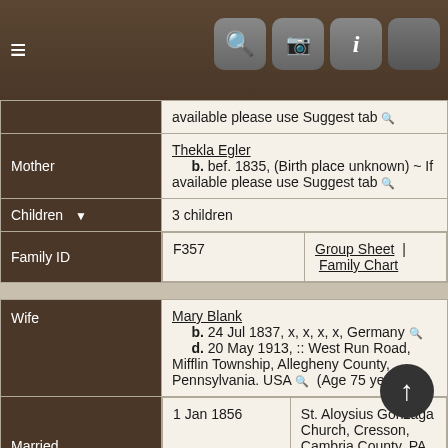Navigation bar with hamburger menu, search, camera, info, and extra icons
| Field | Value |
| --- | --- |
|  | available please use Suggest tab 🔍 |
| Mother | Thekla Egler
b. bef. 1835, (Birth place unknown) ~ If available please use Suggest tab 🔍 |
| Children ▼ | 3 children |
| Family ID | F357 | Group Sheet | Family Chart |
| Field | Value |
| --- | --- |
| Wife | Mary Blank
b. 24 Jul 1837, x, x, x, x, Germany 🔍
d. 20 May 1913, :: West Run Road, Mifflin Township, Allegheny County, Pennsylvania. USA 🔍 (Age 75 years) |
| Married | 1 Jan 1856 | St. Aloysius Gonzaga Church, Cresson, Cambria County, PA 🔍 [12] |
| Age at Marriage | He was 20 years and 10 months - She was 18 years and 6 months |